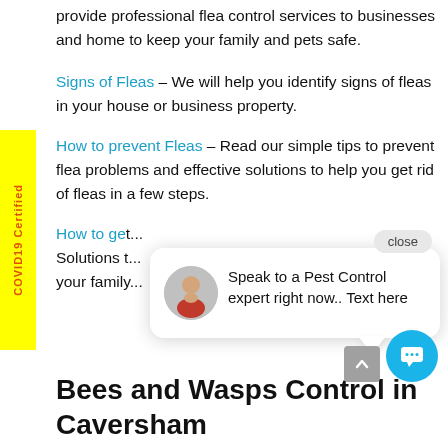provide professional flea control services to businesses and home to keep your family and pets safe.
Signs of Fleas – We will help you identify signs of fleas in your house or business property.
How to prevent Fleas – Read our simple tips to prevent flea problems and effective solutions to help you get rid of fleas in a few steps.
How to ge... Solutions t... your family...
[Figure (screenshot): Chat popup with agent avatar and message: Speak to a Pest Control expert right now.. Text here, with a close button]
Bees and Wasps Control in Caversham